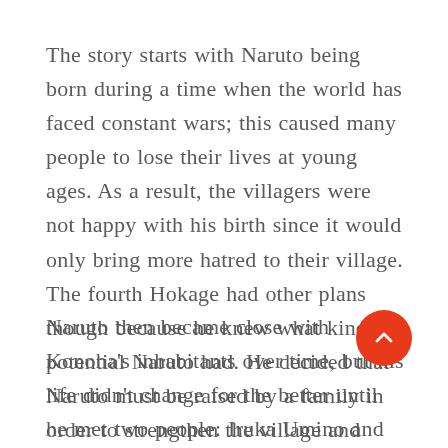The story starts with Naruto being born during a time when the world has faced constant wars; this caused many people to lose their lives at young ages. As a result, the villagers were not happy with his birth since it would only bring more hatred to their village. The fourth Hokage had other plans though because he knew what kind of potential Naruto had. He decided that Naruto must be raised by a family in order to strengthen the village and make it less susceptible to wars.
Naruto then became close with Konoha's inhabitants over time, but his life didn't change for the better until he met two people: Iruka Umino and Hiruzen Sarutobi (the third Hokage). These were important figures in